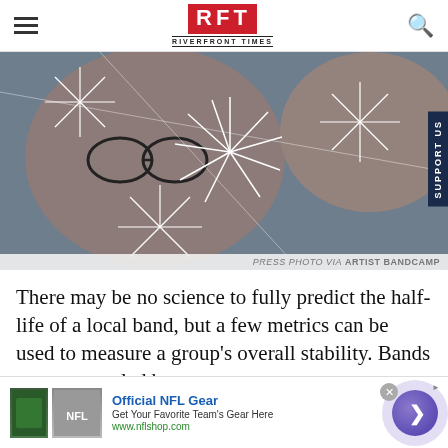RFT RIVERFRONT TIMES
[Figure (photo): Press photo of two band members with artistic white firework/dandelion graphic overlays on a dark background]
PRESS PHOTO VIA ARTIST BANDCAMP
There may be no science to fully predict the half-life of a local band, but a few metrics can be used to measure a group's overall stability. Bands can get scuttled by
[Figure (other): Advertisement banner: Official NFL Gear - Get Your Favorite Team's Gear Here - www.nflshop.com]